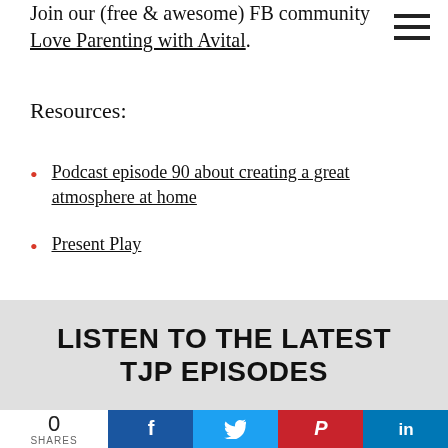Join our (free & awesome) FB community Love Parenting with Avital.
Resources:
Podcast episode 90 about creating a great atmosphere at home
Present Play
LISTEN TO THE LATEST TJP EPISODES
0 SHARES